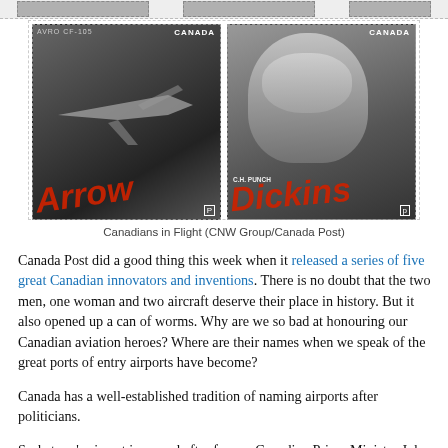[Figure (photo): Two Canadian postage stamps side by side. Left stamp shows an Avro CF-105 Arrow jet aircraft with bold red italic text 'Arrow' and 'CANADA' label. Right stamp shows a portrait of C.H. Punch Dickins with bold red italic text 'Dickina' and 'CANADA' label with a P (permanent) postage indicator. Both stamps have dashed perforated borders.]
Canadians in Flight (CNW Group/Canada Post)
Canada Post did a good thing this week when it released a series of five great Canadian innovators and inventions. There is no doubt that the two men, one woman and two aircraft deserve their place in history. But it also opened up a can of worms. Why are we so bad at honouring our Canadian aviation heroes? Where are their names when we speak of the great ports of entry airports have become?
Canada has a well-established tradition of naming airports after politicians.
Saskatoon's airport is named after former Canadian Prime Minister John Diefenbaker, Toronto's after Lester B. Pearson, Ottawa after Sir John A. Macdonald, and Montreal after